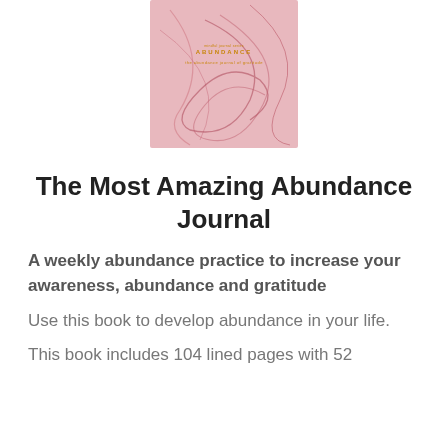[Figure (illustration): Book cover of 'The Most Amazing Abundance Journal' with pink background and abstract line art swirls in pink/mauve and orange/gold title text]
The Most Amazing Abundance Journal
A weekly abundance practice to increase your awareness, abundance and gratitude
Use this book to develop abundance in your life.
This book includes 104 lined pages with 52